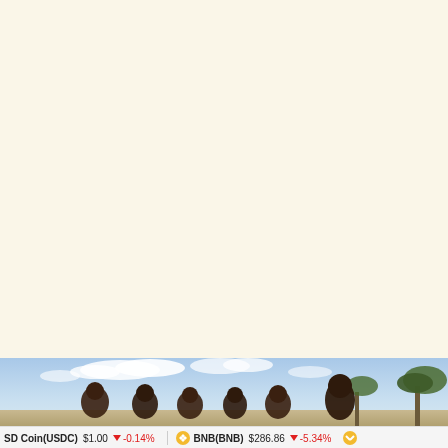[Figure (photo): Photograph of a group of African children standing outdoors with blue sky and acacia trees in the background. The image is cropped showing the children from approximately the shoulders up, smiling. Visible in bottom portion of page.]
USD Coin(USDC) $1.00 ↓ -0.14%   BNB(BNB) $286.86 ↓ -5.34%